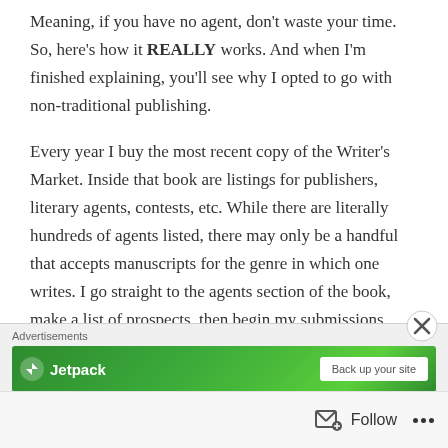Meaning, if you have no agent, don't waste your time. So, here's how it REALLY works. And when I'm finished explaining, you'll see why I opted to go with non-traditional publishing.
Every year I buy the most recent copy of the Writer's Market. Inside that book are listings for publishers, literary agents, contests, etc. While there are literally hundreds of agents listed, there may only be a handful that accepts manuscripts for the genre in which one writes. I go straight to the agents section of the book, make a list of prospects, then begin my submissions.
[Figure (other): Advertisements banner showing Jetpack logo on a green background with a 'Back up your site' button, and a close (X) button overlay]
Follow ···